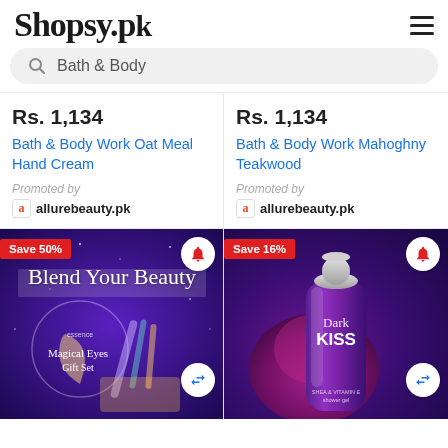Shopsy.pk
Bath & Body
Rs. 1,134
Bath & Body Work Oat Meal Hand Cream
Promoted by allurebeauty.pk
Rs. 1,134
Bath & Body Work Mahoghny Teakwood
Promoted by allurebeauty.pk
[Figure (photo): Essence Magical Eyes Gift Set - Blend Your Beauty. Purple themed makeup gift set with crescent moon, eye shadow palette, and makeup tools on star-speckled blue/purple background. Save 50% badge.]
[Figure (photo): Bath & Body Work Dark Kiss shower gel bottle. Purple bottle with floral background in dark purple/magenta tones. Save 16% badge.]